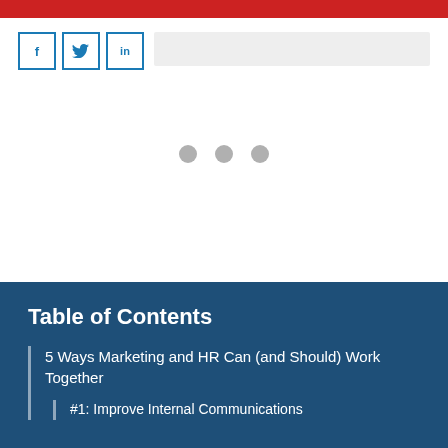[Figure (other): Red horizontal bar at top of page]
[Figure (other): Social media share icons for Facebook (f), Twitter (bird), and LinkedIn (in), and a grey search/input bar]
[Figure (other): Three grey dots indicating a loading or carousel element in the white middle area]
Table of Contents
5 Ways Marketing and HR Can (and Should) Work Together
#1: Improve Internal Communications